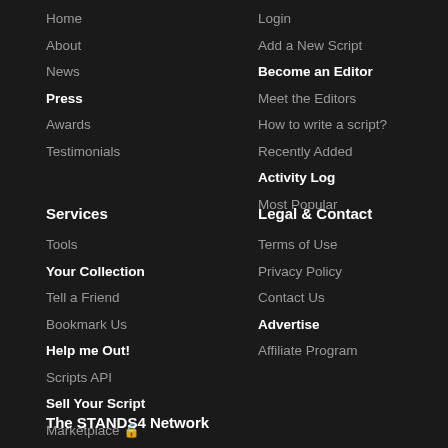Home
About
News
Press
Awards
Testimonials
Login
Add a New Script
Become an Editor
Meet the Editors
How to write a script?
Recently Added
Activity Log
Most Popular
Services
Tools
Your Collection
Tell a Friend
Bookmark Us
Help me Out!
Scripts API
Sell Your Script
Marketplace 🔒
Screenwriting Tool
Legal & Contact
Terms of Use
Privacy Policy
Contact Us
Advertise
Affiliate Program
The STANDS4 Network